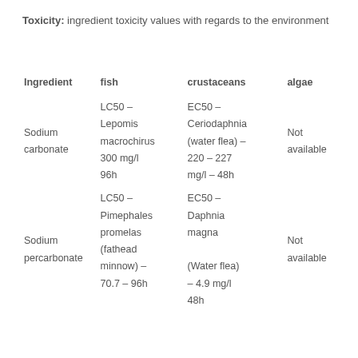Toxicity: ingredient toxicity values with regards to the environment
| Ingredient | fish | crustaceans | algae |
| --- | --- | --- | --- |
| Sodium carbonate | LC50 – Lepomis macrochirus 300 mg/l 96h | EC50 – Ceriodaphnia (water flea) – 220 – 227 mg/l – 48h | Not available |
| Sodium percarbonate | LC50 – Pimephales promelas (fathead minnow) – 70.7 – 96h | EC50 – Daphnia magna (Water flea) – 4.9 mg/l 48h | Not available |